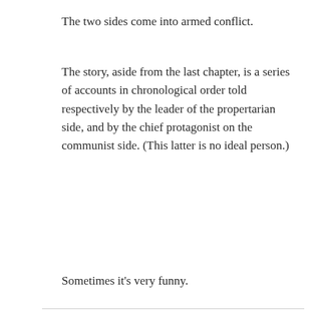The two sides come into armed conflict.
The story, aside from the last chapter, is a series of accounts in chronological order told respectively by the leader of the propertarian side, and by the chief protagonist on the communist side. (This latter is no ideal person.)
Sometimes it's very funny.
libertasbella   1 year 11 months ago
I've only read We and Atlas Shrugged on this list. Which of these books should I tear into first? Almost all the science fiction I've read has been Harlan Ellison.